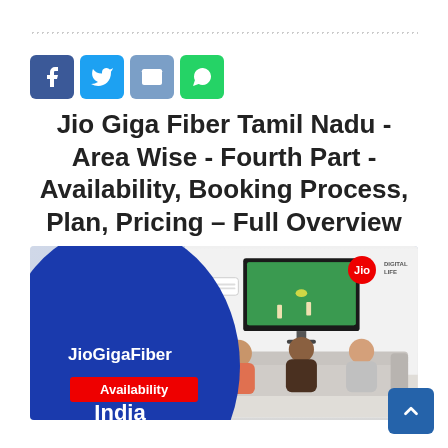[Figure (infographic): Dotted/dashed horizontal decorative border strip at top of page]
[Figure (infographic): Social sharing icons: Facebook (blue), Twitter (light blue), Email (grey-blue), WhatsApp (green)]
Jio Giga Fiber Tamil Nadu - Area Wise - Fourth Part -Availability, Booking Process, Plan, Pricing – Full Overview
[Figure (photo): JioGigaFiber promotional banner showing a family watching TV on a sofa, with a large blue circle on the left containing text 'JioGigaFiber All Over India' and a red badge saying 'Availability'. Jio Digital Life logo in top right corner of banner.]